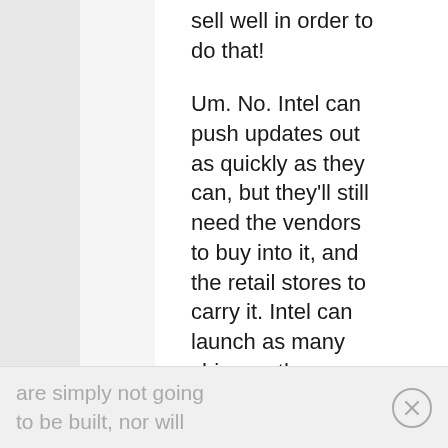sell well in order to do that!
Um. No. Intel can push updates out as quickly as they can, but they'll still need the vendors to buy into it, and the retail stores to carry it. Intel can launch as many chips as they want, but if the vendors don't see the sales to justify buying them, or the retail stores to justify stocking them, they
are simply not going to be built, nor will